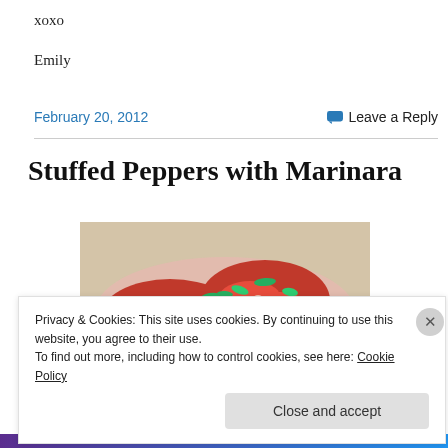xoxo
Emily
February 20, 2012
Leave a Reply
Stuffed Peppers with Marinara
[Figure (photo): Photo of stuffed peppers with marinara sauce and herbs on a plate]
Privacy & Cookies: This site uses cookies. By continuing to use this website, you agree to their use.
To find out more, including how to control cookies, see here: Cookie Policy
Close and accept